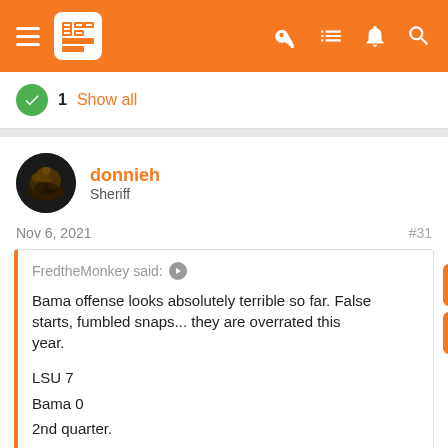[Figure (screenshot): Orange navigation bar with hamburger menu, logo, and icons (key, list, alert, search)]
1 Show all
[Figure (photo): User avatar - circular profile picture of donnieh]
donnieh
Sheriff
Nov 6, 2021
#31
FredtheMonkey said: ▶

Bama offense looks absolutely terrible so far. False starts, fumbled snaps... they are overrated this year.

LSU 7
Bama 0
2nd quarter.
That's the game I'm watching. I'm not going to tune in to the Texass